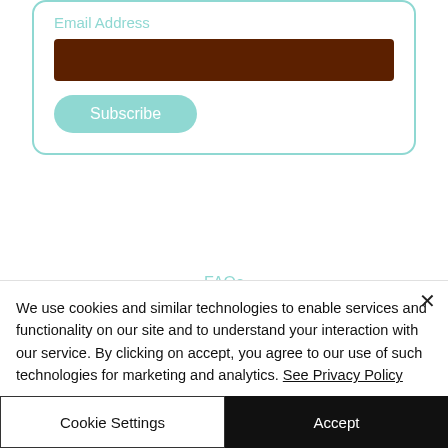Email Address
[Figure (screenshot): Email input field (dark brown/black filled rectangle) and Subscribe button (teal rounded rectangle)]
FAQs
Contact us
Privacy Policy
We use cookies and similar technologies to enable services and functionality on our site and to understand your interaction with our service. By clicking on accept, you agree to our use of such technologies for marketing and analytics. See Privacy Policy
Cookie Settings
Accept